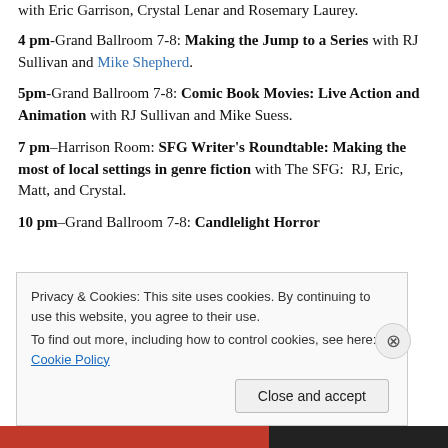with Eric Garrison, Crystal Lenar and Rosemary Laurey.
4 pm-Grand Ballroom 7-8: Making the Jump to a Series with RJ Sullivan and Mike Shepherd.
5pm-Grand Ballroom 7-8: Comic Book Movies: Live Action and Animation with RJ Sullivan and Mike Suess.
7 pm–Harrison Room: SFG Writer's Roundtable: Making the most of local settings in genre fiction with The SFG:  RJ, Eric, Matt, and Crystal.
10 pm–Grand Ballroom 7-8: Candlelight Horror
Privacy & Cookies: This site uses cookies. By continuing to use this website, you agree to their use.
To find out more, including how to control cookies, see here: Cookie Policy
Close and accept